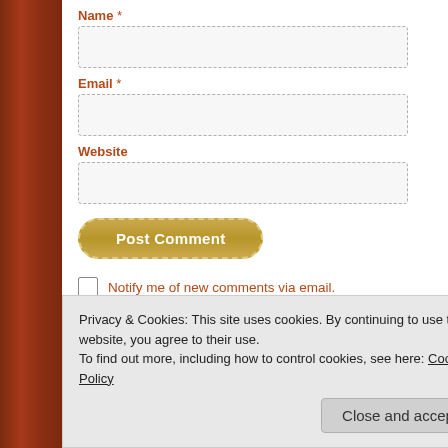Name *
[Figure (screenshot): Empty text input field for Name]
Email *
[Figure (screenshot): Empty text input field for Email]
Website
[Figure (screenshot): Empty text input field for Website]
[Figure (screenshot): Post Comment button with golden gradient and dashed border]
Notify me of new comments via email.
Notify me of new posts via email.
Privacy & Cookies: This site uses cookies. By continuing to use this website, you agree to their use.
To find out more, including how to control cookies, see here: Cookie Policy
Close and accept